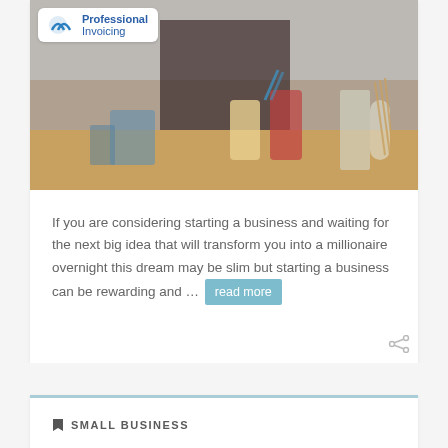[Figure (photo): A barista or cafe worker preparing drinks at a counter, with drinks, cups, and utensils visible. Professional Invoicing logo overlaid in top-left corner.]
If you are considering starting a business and waiting for the next big idea that will transform you into a millionaire overnight this dream may be slim but starting a business can be rewarding and … read more
SMALL BUSINESS
Top 10 Business Advantages of